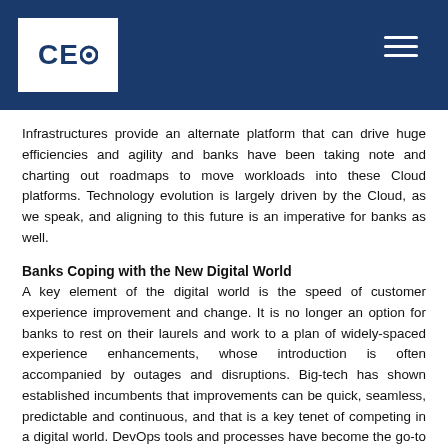CEO
Infrastructures provide an alternate platform that can drive huge efficiencies and agility and banks have been taking note and charting out roadmaps to move workloads into these Cloud platforms. Technology evolution is largely driven by the Cloud, as we speak, and aligning to this future is an imperative for banks as well.
Banks Coping with the New Digital World
A key element of the digital world is the speed of customer experience improvement and change. It is no longer an option for banks to rest on their laurels and work to a plan of widely-spaced experience enhancements, whose introduction is often accompanied by outages and disruptions. Big-tech has shown established incumbents that improvements can be quick, seamless, predictable and continuous, and that is a key tenet of competing in a digital world. DevOps tools and processes have become the go-to model for incumbents based on the success of Big-techs who have adopted this into a competitive differentiator supporting